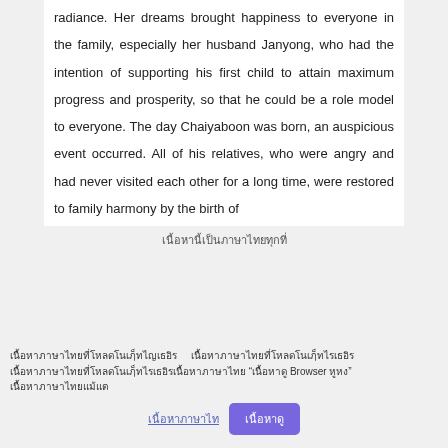radiance. Her dreams brought happiness to everyone in the family, especially her husband Janyong, who had the intention of supporting his first child to attain maximum progress and prosperity, so that he could be a role model to everyone. The day Chaiyaboon was born, an auspicious event occurred. All of his relatives, who were angry and had never visited each other for a long time, were restored to family harmony by the birth of
[Thai text - centered]
[Thai notice text with Browser reference]
[Thai button labels]